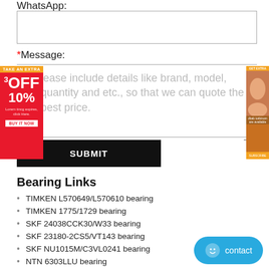WhatsApp:
*Message:
Please include details like brand, model, quantity and etc., so that we can quote the best price.
SUBMIT
Bearing Links
TIMKEN L570649/L570610 bearing
TIMKEN 1775/1729 bearing
SKF 24038CCK30/W33 bearing
SKF 23180-2CS5/VT143 bearing
SKF NU1015M/C3VL0241 bearing
NTN 6303LLU bearing
NSK 24128SWRCg2E4 bearing